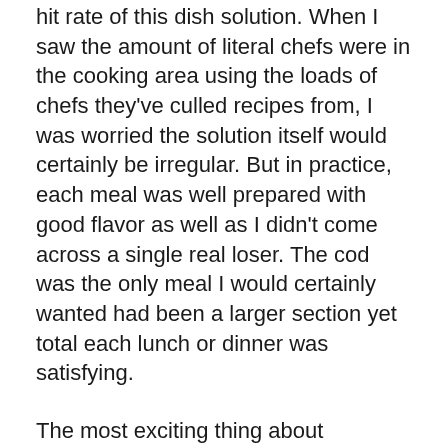hit rate of this dish solution. When I saw the amount of literal chefs were in the cooking area using the loads of chefs they've culled recipes from, I was worried the solution itself would certainly be irregular. But in practice, each meal was well prepared with good flavor as well as I didn't come across a single real loser. The cod was the only meal I would certainly wanted had been a larger section yet total each lunch or dinner was satisfying.
The most exciting thing about CookUnity is the large volume of meal choices you can choose from, all stemming from cooks of different backgrounds, cooking styles as well as degrees of fame. As a bona fide restaurant junkie, I would think about CookUnity not only as a delicious means to